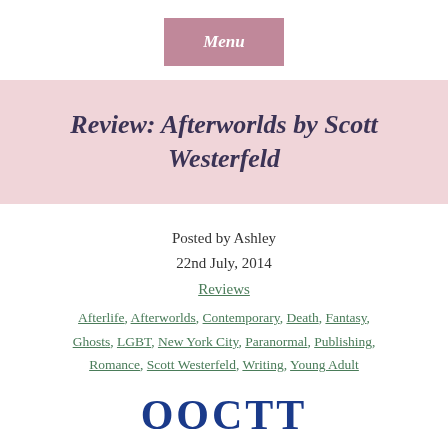Menu
Review: Afterworlds by Scott Westerfeld
Posted by Ashley
22nd July, 2014
Reviews
Afterlife, Afterworlds, Contemporary, Death, Fantasy, Ghosts, LGBT, New York City, Paranormal, Publishing, Romance, Scott Westerfeld, Writing, Young Adult
[Figure (other): Partial view of book cover text at bottom of page showing large bold blue letters]